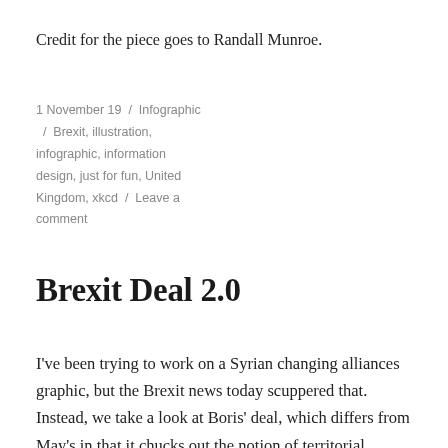Credit for the piece goes to Randall Munroe.
1 November 19  /  Infographic  /  Brexit, illustration, infographic, information design, just for fun, United Kingdom, xkcd  /  Leave a comment
Brexit Deal 2.0
I've been trying to work on a Syrian changing alliances graphic, but the Brexit news today scuppered that. Instead, we take a look at Boris' deal, which differs from May's in that it chucks out the notion of territorial integrity, creating a border